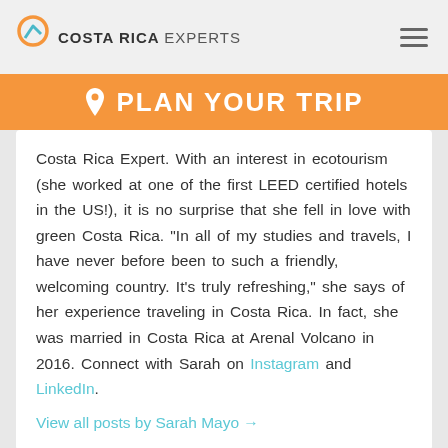COSTA RICA EXPERTS
PLAN YOUR TRIP
Costa Rica Expert. With an interest in ecotourism (she worked at one of the first LEED certified hotels in the US!), it is no surprise that she fell in love with green Costa Rica. “In all of my studies and travels, I have never before been to such a friendly, welcoming country. It’s truly refreshing,” she says of her experience traveling in Costa Rica. In fact, she was married in Costa Rica at Arenal Volcano in 2016. Connect with Sarah on Instagram and LinkedIn.
View all posts by Sarah Mayo →